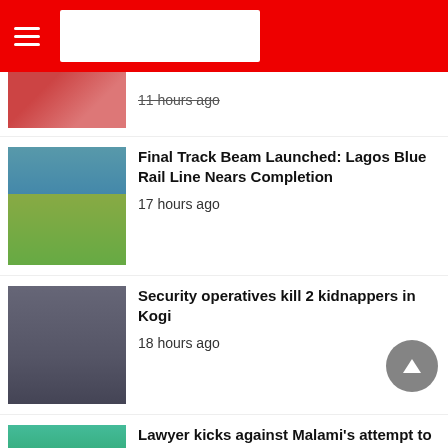News website header with hamburger menu and logo
11 hours ago
Final Track Beam Launched: Lagos Blue Rail Line Nears Completion
17 hours ago
Security operatives kill 2 kidnappers in Kogi
18 hours ago
Lawyer kicks against Malami's attempt to extradite a Nigerian to US
1 day ago
Asiwaju Tinubu congratulates IBB at